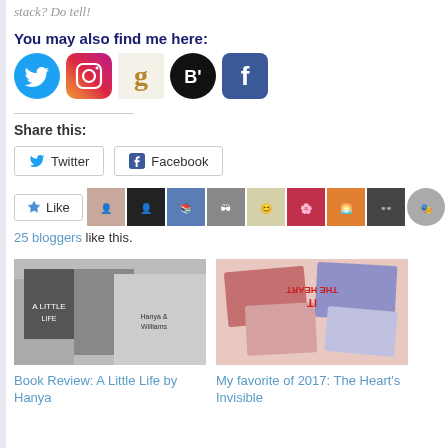stack? Do tell!
You may also find me here:
[Figure (infographic): Social media icons: Twitter (blue bird), Instagram (gradient camera), Goodreads (brown 'g'), Bloglovin (black 'B' circle), Facebook (blue 'f')]
Share this:
[Figure (infographic): Twitter share button and Facebook share button]
[Figure (infographic): Like button with star icon and 9 blogger avatar thumbnails]
25 bloggers like this.
[Figure (photo): Book Review: A Little Life by Hanya - thumbnail image showing book cover and person]
Book Review: A Little Life by Hanya
[Figure (photo): My favorite of 2017: The Heart's Invisible - thumbnail image]
My favorite of 2017: The Heart's Invisible